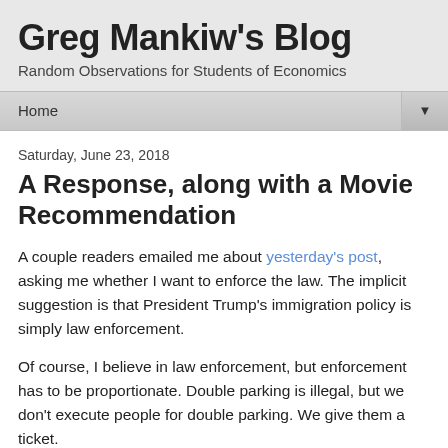Greg Mankiw's Blog
Random Observations for Students of Economics
Home ▼
Saturday, June 23, 2018
A Response, along with a Movie Recommendation
A couple readers emailed me about yesterday's post, asking me whether I want to enforce the law. The implicit suggestion is that President Trump's immigration policy is simply law enforcement.
Of course, I believe in law enforcement, but enforcement has to be proportionate. Double parking is illegal, but we don't execute people for double parking. We give them a ticket.